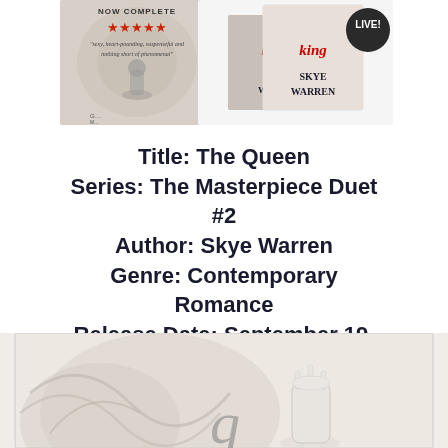[Figure (photo): Two book covers by Skye Warren — left cover shows a dark ornate design with star rating and review quote reading 'sexy, heart-pounding, suspenseful and nothing short of phenomenal', with a chess piece; right cover shows two books stacked with 'King' and 'Skye Warren' visible, with a 'LIVE!' badge in the corner.]
Title: The Queen
Series: The Masterpiece Duet #2
Author: Skye Warren
Genre: Contemporary Romance
Release Date: September 19, 2017
[Figure (photo): Bottom partial image of a book cover showing a white queen chess piece on an ornate light gray background with decorative swirls and a partial cursive letter.]